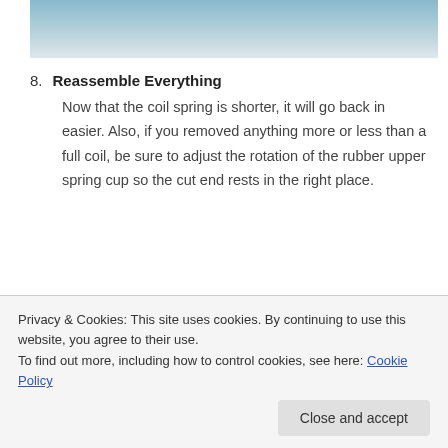[Figure (photo): Partial photograph showing what appears to be a car suspension component or bucket, visible at the top of the page]
8. Reassemble Everything
Now that the coil spring is shorter, it will go back in easier. Also, if you removed anything more or less than a full coil, be sure to adjust the rotation of the rubber upper spring cup so the cut end rests in the right place.
As it turns out, I lowered the car 3″ in the rear by
have pulled several hundred pounds of weight out
Privacy & Cookies: This site uses cookies. By continuing to use this website, you agree to their use.
To find out more, including how to control cookies, see here: Cookie Policy